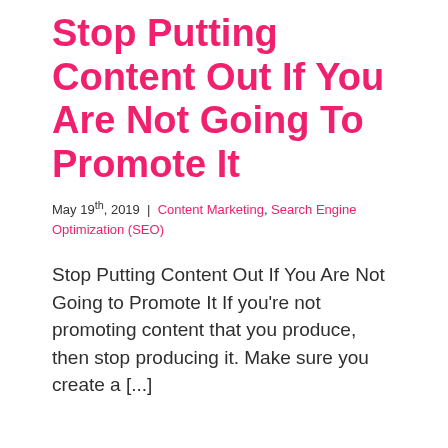Stop Putting Content Out If You Are Not Going To Promote It
May 19th, 2019 | Content Marketing, Search Engine Optimization (SEO)
Stop Putting Content Out If You Are Not Going to Promote It If you're not promoting content that you produce, then stop producing it. Make sure you create a [...]
Read More >